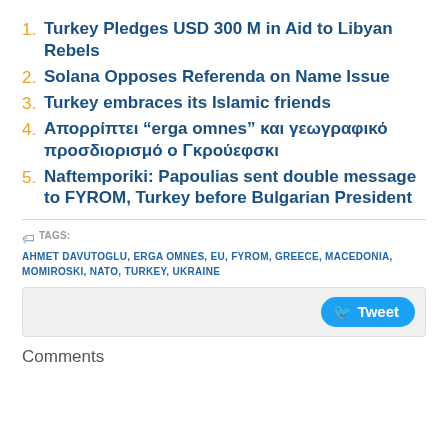1. Turkey Pledges USD 300 M in Aid to Libyan Rebels
2. Solana Opposes Referenda on Name Issue
3. Turkey embraces its Islamic friends
4. Απορρίπτει "erga omnes" και γεωγραφικό προσδιορισμό ο Γκρούεφσκι
5. Naftemporiki: Papoulias sent double message to FYROM, Turkey before Bulgarian President
TAGS: AHMET DAVUTOGLU, ERGA OMNES, EU, FYROM, GREECE, MACEDONIA, MOMIROSKI, NATO, TURKEY, UKRAINE
Tweet
Comments